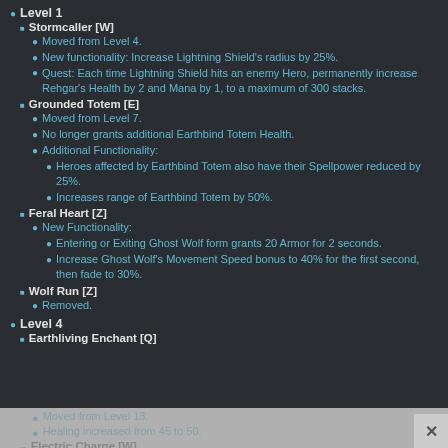Level 1
Stormcaller [W]
Moved from Level 4.
New functionality: Increase Lightning Shield's radius by 25%.
Quest: Each time Lightning Shield hits an enemy Hero, permanently increase Rehgar's Health by 2 and Mana by 1, to a maximum of 300 stacks.
Grounded Totem [E]
Moved from Level 7.
No longer grants additional Earthbind Totem Health.
Additional Functionality:
Heroes affected by Earthbind Totem also have their Spellpower reduced by 25%.
Increases range of Earthbind Totem by 50%.
Feral Heart [Z]
New Functionality:
Entering or Exiting Ghost Wolf form grants 20 Armor for 2 seconds.
Increase Ghost Wolf's Movement Speed bonus to 40% for the first second, then fade to 30%.
Wolf Run [Z]
Removed.
Level 4
Earthliving Enchant [Q]
Moved from Level 13.
Healing increased from 45 to 50.
Electric Charge [W]